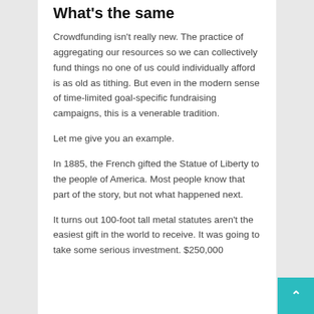What's the same
Crowdfunding isn't really new. The practice of aggregating our resources so we can collectively fund things no one of us could individually afford is as old as tithing. But even in the modern sense of time-limited goal-specific fundraising campaigns, this is a venerable tradition.
Let me give you an example.
In 1885, the French gifted the Statue of Liberty to the people of America. Most people know that part of the story, but not what happened next.
It turns out 100-foot tall metal statutes aren't the easiest gift in the world to receive. It was going to take some serious investment. $250,000